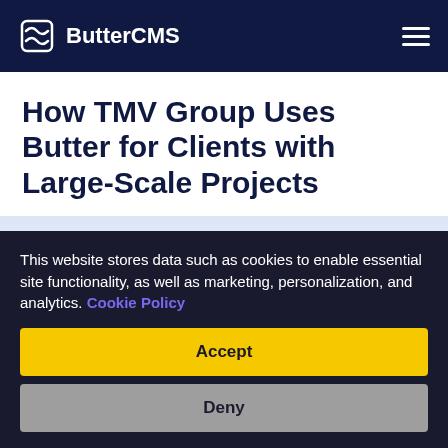ButterCMS
How TMV Group Uses Butter for Clients with Large-Scale Projects
Completed development on major client site using ButterCMS
This website stores data such as cookies to enable essential site functionality, as well as marketing, personalization, and analytics. Cookie Policy
Accept
Deny